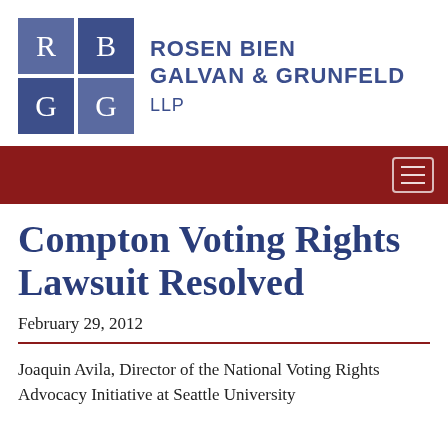[Figure (logo): Rosen Bien Galvan & Grunfeld LLP law firm logo with blue grid squares containing letters R, B, G, G and firm name text]
[Figure (other): Dark red navigation bar with hamburger menu icon on right side]
Compton Voting Rights Lawsuit Resolved
February 29, 2012
Joaquin Avila, Director of the National Voting Rights Advocacy Initiative at Seattle University